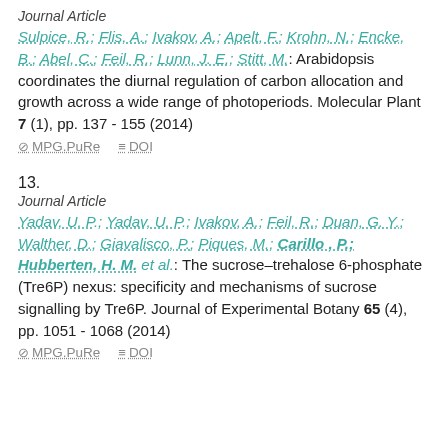Journal Article
Sulpice, R.; Flis, A.; Ivakov, A.; Apelt, F.; Krohn, N.; Encke, B.; Abel, C.; Feil, R.; Lunn, J. E.; Stitt, M.: Arabidopsis coordinates the diurnal regulation of carbon allocation and growth across a wide range of photoperiods. Molecular Plant 7 (1), pp. 137 - 155 (2014)
MPG.PuRe   DOI
13.
Journal Article
Yadav, U. P.; Yadav, U. P.; Ivakov, A.; Feil, R.; Duan, G. Y.; Walther, D.; Giavalisco, P.; Piques, M.; Carillo , P.; Hubberten, H. M. et al.: The sucrose–trehalose 6-phosphate (Tre6P) nexus: specificity and mechanisms of sucrose signalling by Tre6P. Journal of Experimental Botany 65 (4), pp. 1051 - 1068 (2014)
MPG.PuRe   DOI